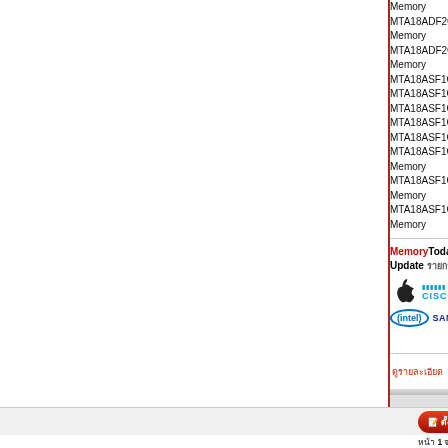Memory MTA18ADF2G72PZ-2... Memory MTA18ADF2G72PZ-2... Memory MTA18ASF1G72AZ-2... MTA18ASF1G72AZ-2... MTA18ASF1G72AZ-2... MTA18ASF1G72AZ-2... MTA18ASF1G72AZ-2... MTA18ASF1G72PDZ-... Memory MTA18ASF1G72PDZ-... Memory MTA18ASF1G72PDZ-... Memory
MemoryToday.com [Thai text] Update [Thai text]! [Thai text]
[Figure (logo): Brand logos: Apple, Cisco, Dell, Intel, Samsung]
[Thai link text]
[Figure (screenshot): Two buttons: orange info button with Thai text, red www button]
MemoryToday.com [Thai text] โทร.02-641-...
ตั้งกระทู้
ตอบกระทู้
หน้า 1 จากทั้งหมด 1